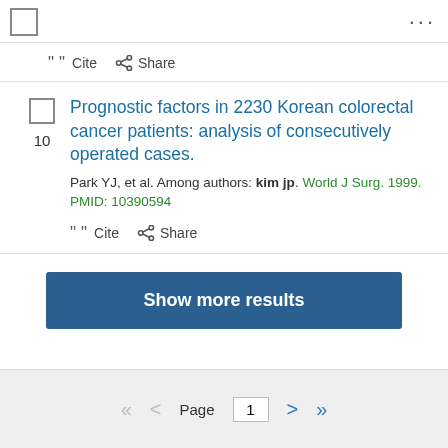[Figure (screenshot): Top navigation bar with checkbox and ellipsis menu]
" Cite  Share
Prognostic factors in 2230 Korean colorectal cancer patients: analysis of consecutively operated cases.
Park YJ, et al. Among authors: kim jp. World J Surg. 1999. PMID: 10390594
" Cite  Share
Show more results
Page 1